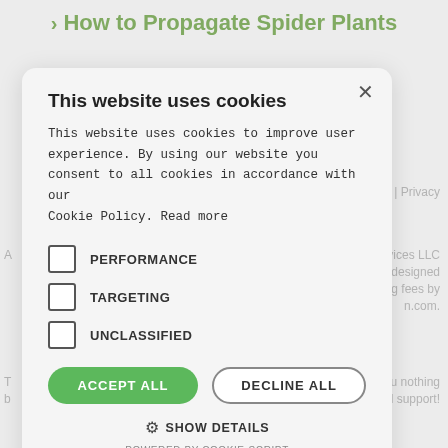> How to Propagate Spider Plants
[Figure (screenshot): Cookie consent modal dialog overlay on a webpage about spider plants. Modal contains title 'This website uses cookies', body text, checkboxes for PERFORMANCE, TARGETING, UNCLASSIFIED, ACCEPT ALL and DECLINE ALL buttons, SHOW DETAILS link, and POWERED BY COOKIE-SCRIPT footer. Background shows partial page text including 'closure | Privacy', 'on Services LLC', 'rogram designed', 'tising fees by', 'n.com.', 'osts you nothing', 'ntinued support!'.]